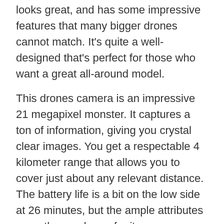looks great, and has some impressive features that many bigger drones cannot match. It's quite a well-designed that's perfect for those who want a great all-around model.
This drones camera is an impressive 21 megapixel monster. It captures a ton of information, giving you crystal clear images. You get a respectable 4 kilometer range that allows you to cover just about any relevant distance. The battery life is a bit on the low side at 26 minutes, but the ample attributes more than make up for it.
Megapixels: 21MP
Range: 4 kilometers